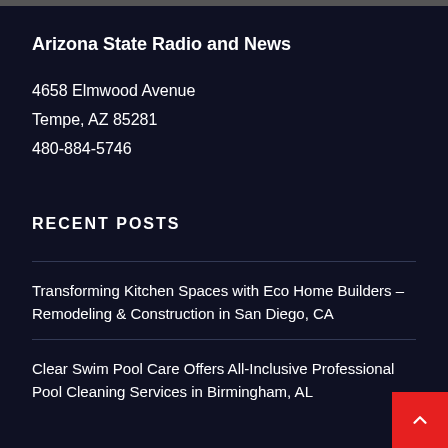Arizona State Radio and News
4658 Elmwood Avenue
Tempe, AZ 85281
480-884-5746
RECENT POSTS
Transforming Kitchen Spaces with Eco Home Builders – Remodeling & Construction in San Diego, CA
Clear Swim Pool Care Offers All-Inclusive Professional Pool Cleaning Services in Birmingham, AL